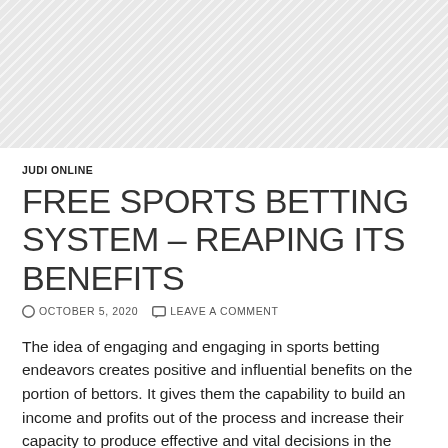[Figure (other): Hatched diagonal stripe pattern area at top of page, light gray background with white diagonal lines.]
JUDI ONLINE
FREE SPORTS BETTING SYSTEM – REAPING ITS BENEFITS
OCTOBER 5, 2020   LEAVE A COMMENT
The idea of engaging and engaging in sports betting endeavors creates positive and influential benefits on the portion of bettors. It gives them the capability to build an income and profits out of the process and increase their capacity to produce effective and vital decisions in the approach. Together